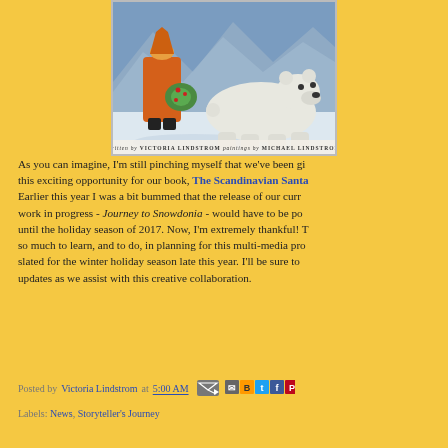[Figure (illustration): Book cover illustration showing a figure in an orange coat holding a green wreath standing next to a polar bear against a blue arctic background. Text at the bottom reads 'written by VICTORIA LINDSTROM paintings by MICHAEL LINDSTROM']
As you can imagine, I'm still pinching myself that we've been given this exciting opportunity for our book, The Scandinavian Santa. Earlier this year I was a bit bummed that the release of our current work in progress - Journey to Snowdonia - would have to be postponed until the holiday season of 2017. Now, I'm extremely thankful! There is so much to learn, and to do, in planning for this multi-media project slated for the winter holiday season late this year. I'll be sure to share updates as we assist with this creative collaboration.
Posted by Victoria Lindstrom at 5:00 AM
Labels: News, Storyteller's Journey